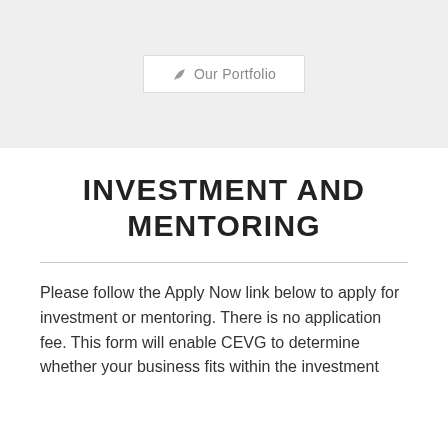Our Portfolio
INVESTMENT AND MENTORING
Please follow the Apply Now link below to apply for investment or mentoring. There is no application fee. This form will enable CEVG to determine whether your business fits within the investment